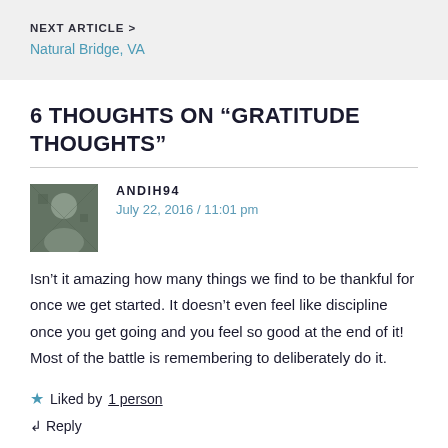NEXT ARTICLE >
Natural Bridge, VA
6 THOUGHTS ON “GRATITUDE THOUGHTS”
ANDIH94
July 22, 2016 / 11:01 pm
Isn’t it amazing how many things we find to be thankful for once we get started. It doesn’t even feel like discipline once you get going and you feel so good at the end of it! Most of the battle is remembering to deliberately do it.
★ Liked by 1 person
↵ Reply